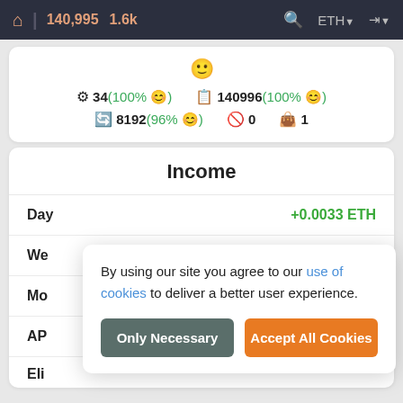140,995  1.6k  ETH
34(100% 😊)  140996(100% 😊)  8192(96% 😊)  0  1
Income
|  |  |
| --- | --- |
| Day | +0.0033 ETH |
| Week | +0.0233 ETH |
| Mo |  |
| AP |  |
| Eli |  |
By using our site you agree to our use of cookies to deliver a better user experience.
Only Necessary | Accept All Cookies